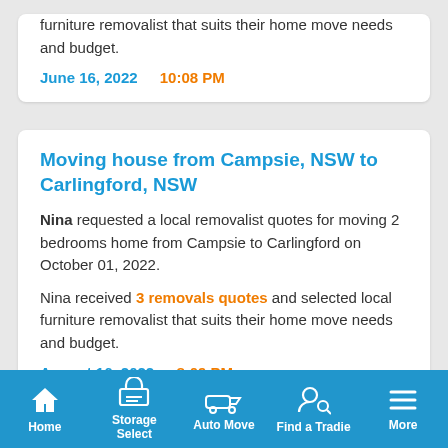furniture removalist that suits their home move needs and budget.
June 16, 2022  10:08 PM
Moving house from Campsie, NSW to Carlingford, NSW
Nina requested a local removalist quotes for moving 2 bedrooms home from Campsie to Carlingford on October 01, 2022.
Nina received 3 removals quotes and selected local furniture removalist that suits their home move needs and budget.
August 16, 2022  8:09 PM
Moving house from Strathpine, QLD to North Lakes, QLD
Home  Storage Select  Auto Move  Find a Tradie  More